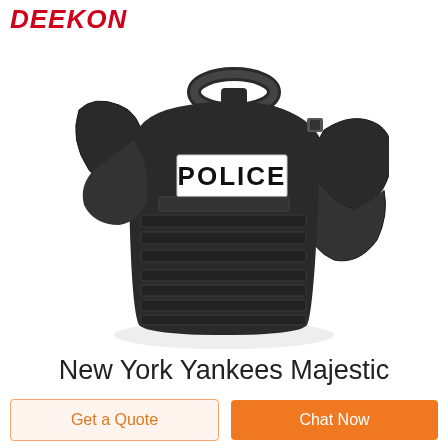DEEKON
[Figure (photo): Black tactical police body armor vest with POLICE label on the front, shoulder guards extended, on white background]
New York Yankees Majestic
Get a Quote
Chat Now